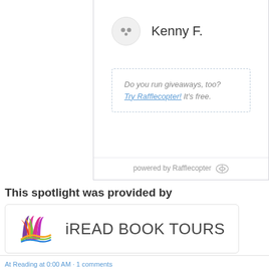Kenny F.
Do you run giveaways, too? Try Rafflecopter! It's free.
powered by Rafflecopter
This spotlight was provided by
[Figure (logo): iREAD BOOK TOURS logo with colorful open book icon]
At Rending at 0.00 AM. 1 comments